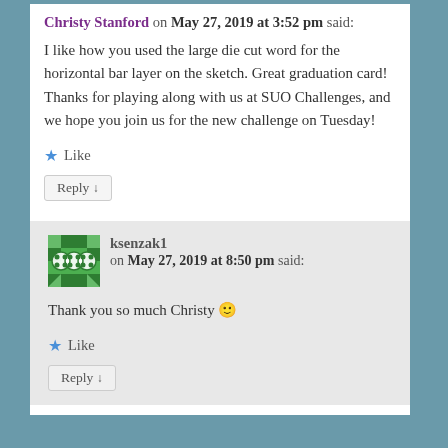Christy Stanford on May 27, 2019 at 3:52 pm said:
I like how you used the large die cut word for the horizontal bar layer on the sketch. Great graduation card! Thanks for playing along with us at SUO Challenges, and we hope you join us for the new challenge on Tuesday!
★ Like
Reply ↓
ksenzak1 on May 27, 2019 at 8:50 pm said:
Thank you so much Christy 🙂
★ Like
Reply ↓